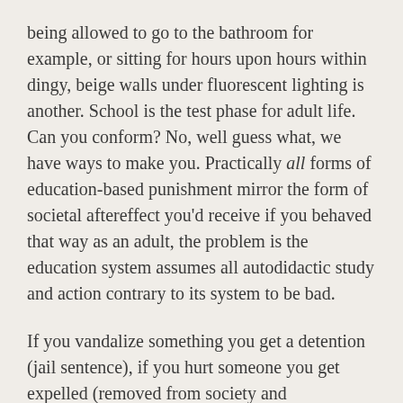being allowed to go to the bathroom for example, or sitting for hours upon hours within dingy, beige walls under fluorescent lighting is another. School is the test phase for adult life. Can you conform? No, well guess what, we have ways to make you. Practically all forms of education-based punishment mirror the form of societal aftereffect you'd receive if you behaved that way as an adult, the problem is the education system assumes all autodidactic study and action contrary to its system to be bad.
If you vandalize something you get a detention (jail sentence), if you hurt someone you get expelled (removed from society and imprisoned), these are relatively good examples of helping one understand that their actions within a society have consequences. But what about the more nuanced forms of covert-